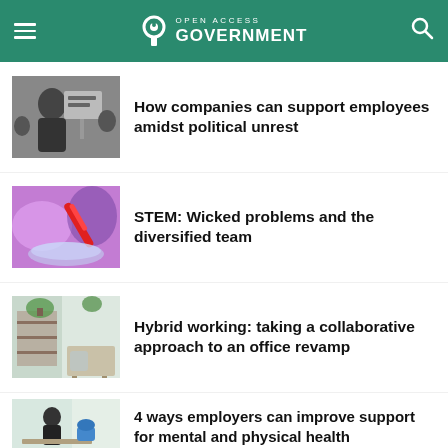Open Access Government
[Figure (screenshot): Black and white photo of person at protest holding sign]
How companies can support employees amidst political unrest
[Figure (photo): Purple and pink lab science image with red pipette]
STEM: Wicked problems and the diversified team
[Figure (photo): Office interior with plants and shelving for hybrid working]
Hybrid working: taking a collaborative approach to an office revamp
[Figure (photo): Person working at desk by window, mental health context]
4 ways employers can improve support for mental and physical health